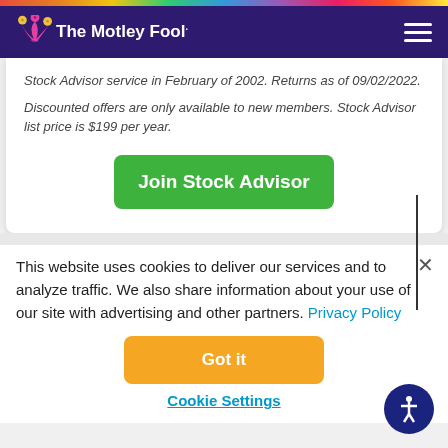The Motley Fool
Stock Advisor service in February of 2002. Returns as of 09/02/2022.
Discounted offers are only available to new members. Stock Advisor list price is $199 per year.
Join Stock Advisor
This website uses cookies to deliver our services and to analyze traffic. We also share information about your use of our site with advertising and other partners. Privacy Policy
Got it
Cookie Settings